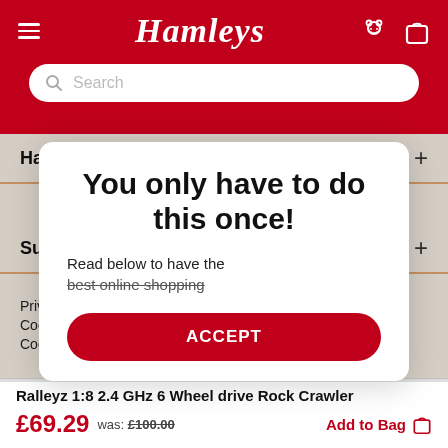Hamleys — Search bar header with hamburger menu, teddy and bag icons
Hamleys
Support
Privacy
Cookies
Cookie Setting
You only have to do this once!
Read below to have the best online shopping
ACCEPT
Ralleyz 1:8 2.4 GHz 6 Wheel drive Rock Crawler
£69.29  was: £100.00  Add to Bag